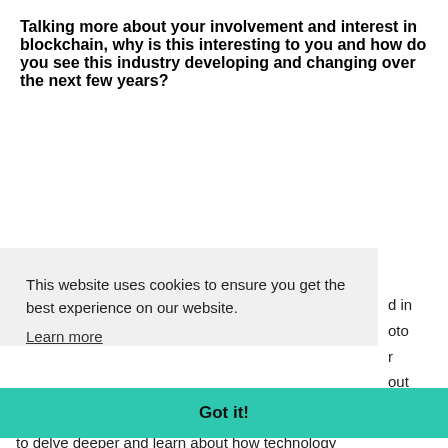Talking more about your involvement and interest in blockchain, why is this interesting to you and how do you see this industry developing and changing over the next few years?
This website uses cookies to ensure you get the best experience on our website. Learn more
Got it!
to delve deeper and learn about how technology